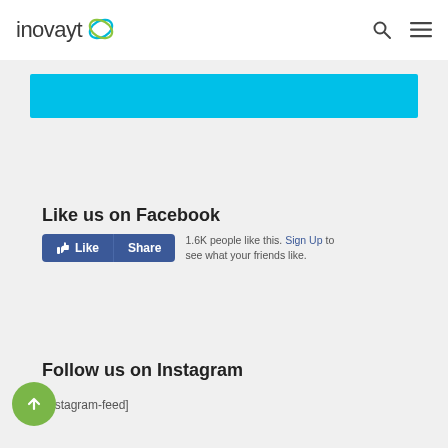inovayt
[Figure (other): Cyan/turquoise horizontal banner bar]
Like us on Facebook
1.6K people like this. Sign Up to see what your friends like.
Follow us on Instagram
[instagram-feed]